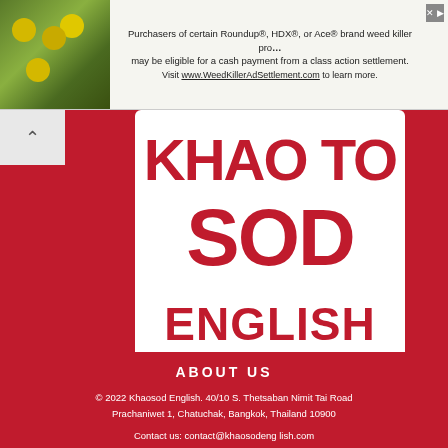[Figure (screenshot): Advertisement banner for WeedKillerAdSettlement.com with a green plant photo on the left. Text reads: Purchasers of certain Roundup®, HDX®, or Ace® brand weed killer products may be eligible for a cash payment from a class action settlement. Visit www.WeedKillerAdSettlement.com to learn more.]
[Figure (logo): Khaosod English logo in a white speech bubble on a red background. The bubble shows text: KHAO TO (partially visible at top), SOD, ENGLISH in large bold red letters. Bubble has a tail pointing down-left.]
ABOUT US
© 2022 Khaosod English. 40/10 S. Thetsaban Nimit Tai Road Prachaniwet 1, Chatuchak, Bangkok, Thailand 10900
Contact us: contact@khaosodeng lish.com